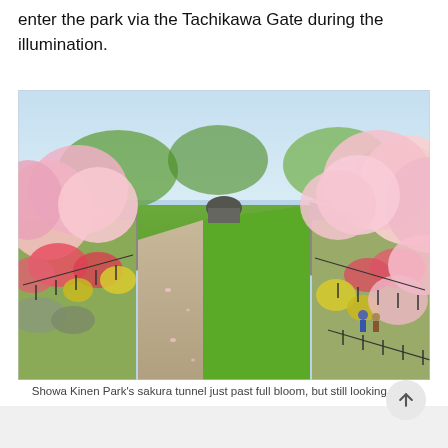enter the park via the Tachikawa Gate during the illumination.
[Figure (photo): Aerial view of Showa Kinen Park's sakura (cherry blossom) tunnel pathway flanked by blooming cherry trees in pink, with green grass and stone walls lining both sides of a central path. People visible walking on the right side.]
Showa Kinen Park's sakura tunnel just past full bloom, but still looking great
[Figure (other): Partially visible gray/light colored content at the bottom of the page]